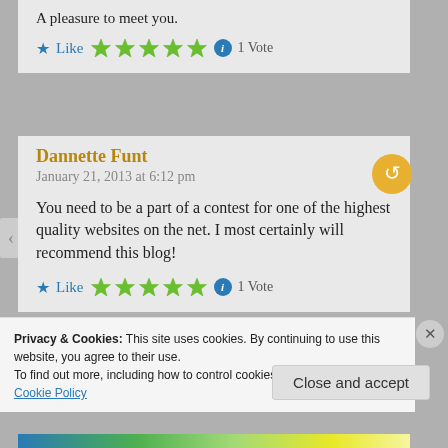A pleasure to meet you.
★ Like  ★★★★★ ℹ 1 Vote
Dannette Funt
January 21, 2013 at 6:12 pm
You need to be a part of a contest for one of the highest quality websites on the net. I most certainly will recommend this blog!
★ Like  ★★★★★ ℹ 1 Vote
Privacy & Cookies: This site uses cookies. By continuing to use this website, you agree to their use.
To find out more, including how to control cookies, see here: Cookie Policy
Close and accept